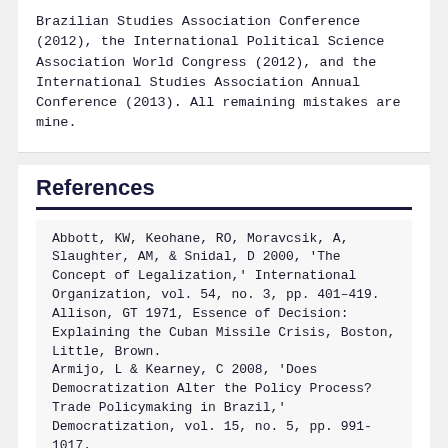Brazilian Studies Association Conference (2012), the International Political Science Association World Congress (2012), and the International Studies Association Annual Conference (2013). All remaining mistakes are mine.
References
Abbott, KW, Keohane, RO, Moravcsik, A, Slaughter, AM, & Snidal, D 2000, 'The Concept of Legalization,' International Organization, vol. 54, no. 3, pp. 401–419. Allison, GT 1971, Essence of Decision: Explaining the Cuban Missile Crisis, Boston, Little, Brown. Armijo, L & Kearney, C 2008, 'Does Democratization Alter the Policy Process? Trade Policymaking in Brazil,' Democratization, vol. 15, no. 5, pp. 991-1017. Ban, C 2013, 'Brazil's liberal neo-developmentalism: New paradigm or edited orthodoxy?' Review of International Political Economy, vol. 20, no. 2, pp. 298-331. Beach, D & Pedersen, RB 2013, Process-Tracing